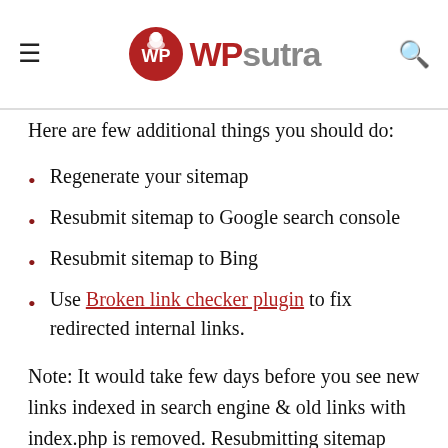WPsutra
Here are few additional things you should do:
Regenerate your sitemap
Resubmit sitemap to Google search console
Resubmit sitemap to Bing
Use Broken link checker plugin to fix redirected internal links.
Note: It would take few days before you see new links indexed in search engine & old links with index.php is removed. Resubmitting sitemap will speed up the process. You can also keep an eye on 404 errors to ensure nothing has gone wrong.  You can use this free plugin to monitor 404 error pages & set redirections